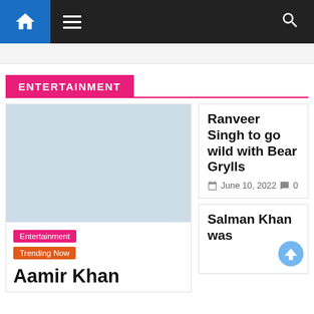Navigation bar with home icon, menu icon, and search icon
ENTERTAINMENT
[Figure (screenshot): Large article image placeholder (light blue rectangle) on left card]
Entertainment | Trending Now
Aamir Khan
Ranveer Singh to go wild with Bear Grylls
June 10, 2022   0
Salman Khan was